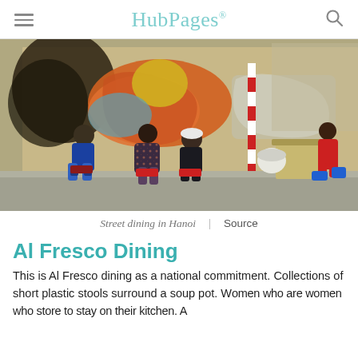HubPages
[Figure (photo): Street scene in Hanoi showing people sitting on low plastic stools along a sidewalk, eating street food in front of a wall covered in colorful graffiti. A food vendor in a red shirt works at a cart on the right.]
Street dining in Hanoi  |  Source
Al Fresco Dining
This is Al Fresco dining as a national commitment. Collections of short plastic stools surround a soup pot. Women who are women who store to stay on their kitchen. A